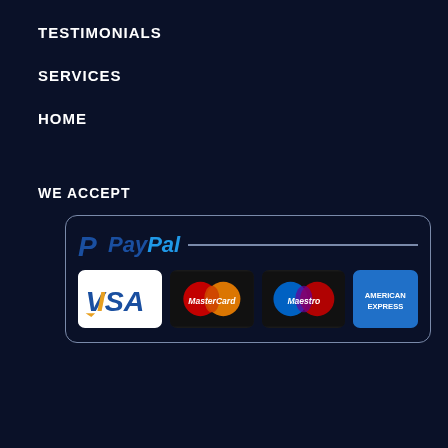TESTIMONIALS
SERVICES
HOME
WE ACCEPT
[Figure (logo): PayPal acceptance badge showing PayPal logo, VISA, MasterCard, Maestro, and American Express payment method logos inside a rounded rectangle border]